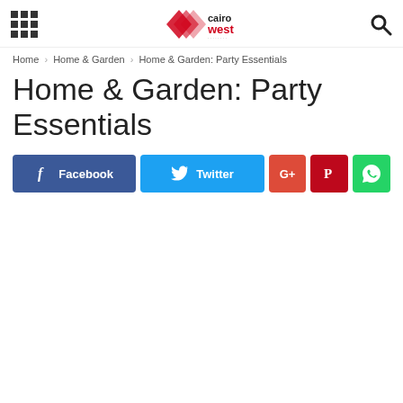Cairo West — navigation header with grid menu, logo, and search icon
Home › Home & Garden › Home & Garden: Party Essentials
Home & Garden: Party Essentials
[Figure (other): Social sharing buttons: Facebook, Twitter, Google+, Pinterest, WhatsApp]